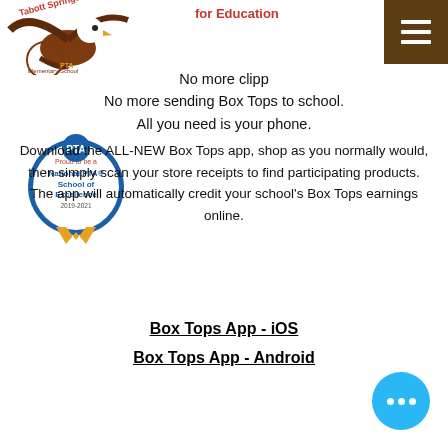[Figure (logo): Tabortt Springs Elementary School PTA eagle logo in red and brown]
[Figure (logo): National PTA School of Excellence badge with ribbon 2019-2021]
No more clipping Box Tops! No more sending Box Tops to school. All you need is your phone.
Download the ALL-NEW Box Tops app, shop as you normally would, then simply scan your store receipts to find participating products. The app will automatically credit your school's Box Tops earnings online.
Box Tops App - iOS
Box Tops App - Android